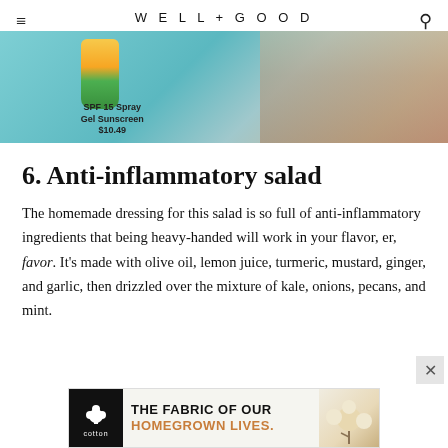WELL+GOOD
[Figure (photo): Advertisement banner showing SPF 15 Spray Gel Sunscreen $10.49 product against a turquoise pool water background with a woman in a swimsuit]
6. Anti-inflammatory salad
The homemade dressing for this salad is so full of anti-inflammatory ingredients that being heavy-handed will work in your flavor, er, favor. It's made with olive oil, lemon juice, turmeric, mustard, ginger, and garlic, then drizzled over the mixture of kale, onions, pecans, and mint.
[Figure (photo): Advertisement banner for cotton reading THE FABRIC OF OUR HOMEGROWN LIVES. with cotton logo and cotton bolls image]